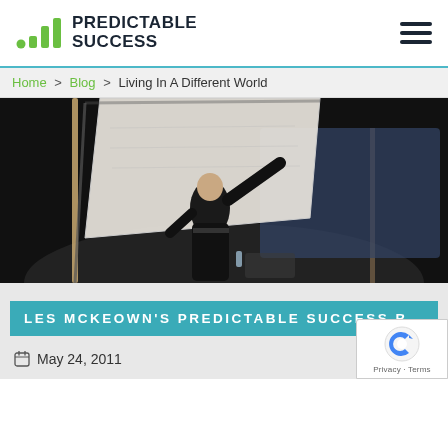[Figure (logo): Predictable Success logo with green bar chart icon and dark text]
Home > Blog > Living In A Different World
[Figure (photo): Speaker on stage lifting a large paper flipchart sheet, dark auditorium background with projection screen]
LES MCKEOWN'S PREDICTABLE SUCCESS B
May 24, 2011